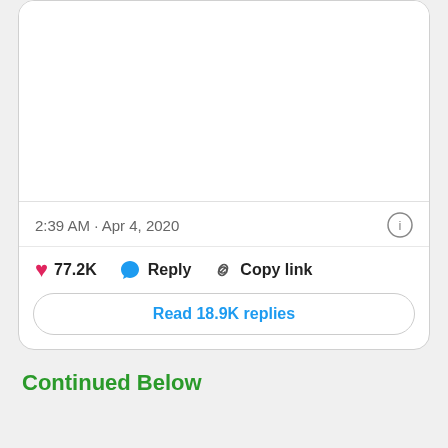[Figure (screenshot): White empty area representing cropped tweet image/content area at top of card]
2:39 AM · Apr 4, 2020
77.2K  Reply  Copy link
Read 18.9K replies
Continued Below